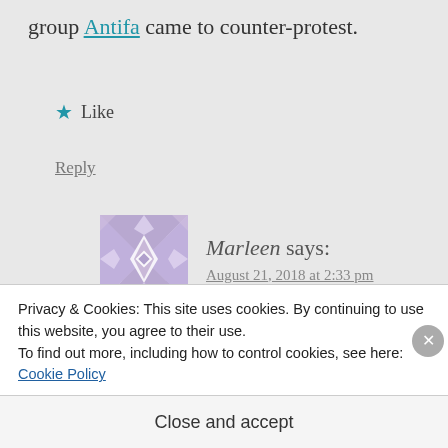group Antifa came to counter-protest.
★ Like
Reply
Marleen says:
August 21, 2018 at 2:33 pm
If you want to, you can keep making excuses for not hearing
Privacy & Cookies: This site uses cookies. By continuing to use this website, you agree to their use.
To find out more, including how to control cookies, see here: Cookie Policy
Close and accept